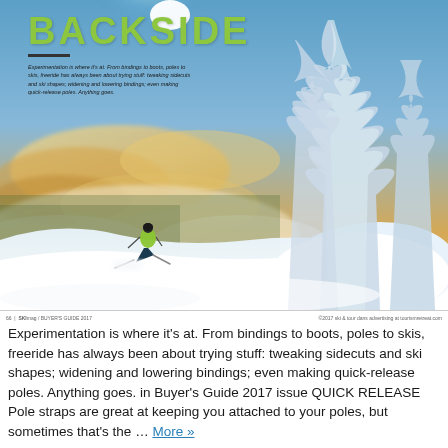[Figure (photo): A skier in a yellow jacket descending a snowy mountain slope with powder snow flying, surrounded by snow-covered trees and dramatic winter sky with sunlight breaking through clouds.]
BACKSIDE
Experimentation is where it's at. From bindings to boots, poles to skis, freeride has always been about trying stuff: tweaking sidecuts and ski shapes; widening and lowering bindings; even making quick-release poles. Anything goes.
66 | SKI BUYER'S GUIDE 2017 | ©2017 ski & tour dans advertising at tourismretreat.com
Experimentation is where it's at. From bindings to boots, poles to skis, freeride has always been about trying stuff: tweaking sidecuts and ski shapes; widening and lowering bindings; even making quick-release poles. Anything goes. in Buyer's Guide 2017 issue QUICK RELEASE Pole straps are great at keeping you attached to your poles, but sometimes that's the … More »